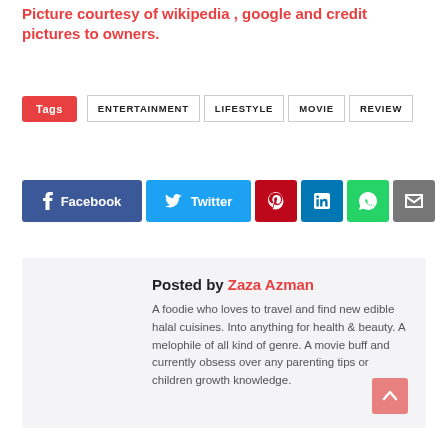Picture courtesy of wikipedia , google and credit pictures to owners.
Tags  ENTERTAINMENT  LIFESTYLE  MOVIE  REVIEW
[Figure (infographic): Social sharing buttons: Facebook (blue), Twitter (light blue), Pinterest (red), LinkedIn (blue), WhatsApp (green), Email (grey)]
Posted by Zaza Azman
A foodie who loves to travel and find new edible halal cuisines. Into anything for health & beauty. A melophile of all kind of genre. A movie buff and currently obsess over any parenting tips or children growth knowledge.